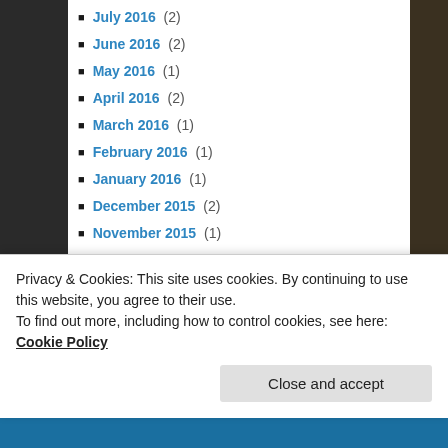July 2016 (2)
June 2016 (2)
May 2016 (1)
April 2016 (2)
March 2016 (1)
February 2016 (1)
January 2016 (1)
December 2015 (2)
November 2015 (1)
October 2015 (2)
September 2015 (5)
August 2015 (1)
July 2015 (3)
June 2015 (3)
May 2015 (3)
Privacy & Cookies: This site uses cookies. By continuing to use this website, you agree to their use. To find out more, including how to control cookies, see here: Cookie Policy
Close and accept